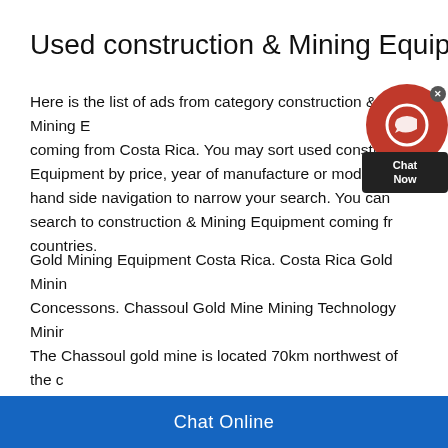Used construction & Mining Equipment
Here is the list of ads from category construction & Mining Equipment coming from Costa Rica. You may sort used construction & Mining Equipment by price, year of manufacture or model. Please use left hand side navigation to narrow your search. You can also extend your search to construction & Mining Equipment coming from other countries.
Gold Mining Equipment Costa Rica. Costa Rica Gold Mining Concessons. Chassoul Gold Mine Mining Technology Mining. The Chassoul gold mine is located 70km northwest of the capital of Costa Rica in San Jose Owned by Veritas Gold a wholly owned subsidiary of Ascot Mining the mine covers an area of 400h includes nine identified veins Its development was initiated.
Chat Online